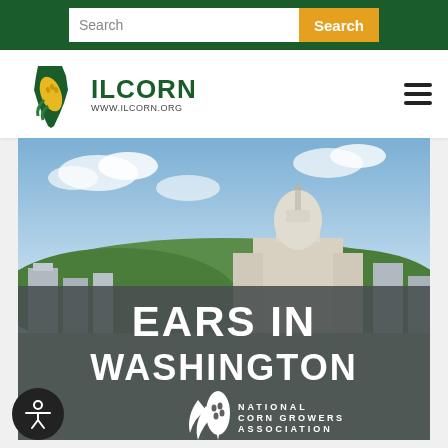Search bar with Search input and Search button
[Figure (logo): ILCORN logo with Illinois corn graphic and www.ilcorn.org URL, with hamburger menu icon]
[Figure (photo): Washington DC skyline showing the US Capitol building with trees and buildings, overlaid with dark banner showing 'EARS IN WASHINGTON' text and National Corn Growers Association logo]
EARS IN WASHINGTON
[Figure (logo): National Corn Growers Association logo - white corn graphic with NATIONAL CORN GROWERS ASSOCIATION text]